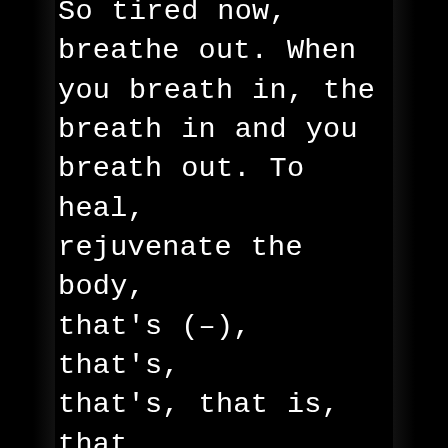So tired now, breathe out. When you breath in, the breath in and you breath out. To heal, rejuvenate the body, that's (–), that's, that's, that is, that is the practice. To breathe in through the body, but to breathe in right, to do it right and to do it constantly. The entity can share this with you if you bring